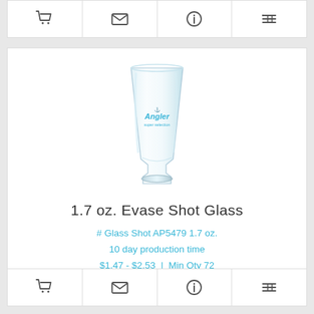[Figure (other): Top icon bar with cart, envelope, info, and list icons]
[Figure (photo): 1.7 oz. Evase Shot Glass with Angler logo printed in blue]
1.7 oz. Evase Shot Glass
# Glass Shot AP5479 1.7 oz.
10 day production time
$1.47 - $2.53 | Min Qty 72
[Figure (other): Bottom icon bar with cart, envelope, info, and list icons]